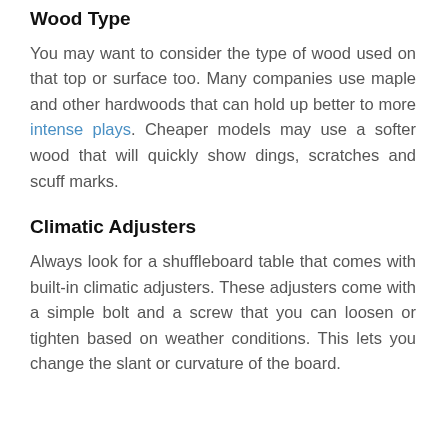Wood Type
You may want to consider the type of wood used on that top or surface too. Many companies use maple and other hardwoods that can hold up better to more intense plays. Cheaper models may use a softer wood that will quickly show dings, scratches and scuff marks.
Climatic Adjusters
Always look for a shuffleboard table that comes with built-in climatic adjusters. These adjusters come with a simple bolt and a screw that you can loosen or tighten based on weather conditions. This lets you change the slant or curvature of the board.